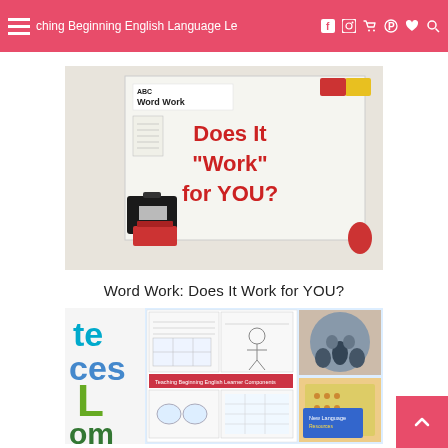Teaching Beginning English Language Learners
[Figure (photo): A classroom whiteboard with 'Word Work' written at the top left and 'Does It "Work" for YOU?' written in large red letters on the right side. A black briefcase and a red basket with supplies are visible in front of the board.]
Word Work: Does It Work for YOU?
[Figure (photo): A collage of ELL classroom materials and activities including worksheets, alphabet resources, and classroom photos showing students engaged in English language learning activities.]